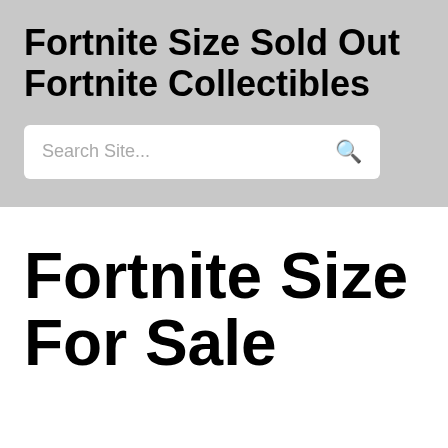Fortnite Size Sold Out Fortnite Collectibles
Search Site...
Fortnite Size For Sale